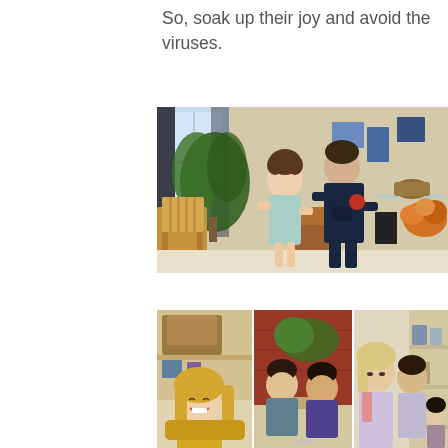So, soak up their joy and avoid the viruses.
[Figure (photo): Two children standing in a home dining room area. A young girl in a light blue dress and a boy in a dark navy hoodie stand near wooden chairs. Background shows houseplants, a window with curtains, colorful artwork on the wall, and orange flowers on a shelf.]
[Figure (photo): Three panel photo strip of children in what appears to be a classroom or educational setting. Left panel: a smiling blonde girl. Middle panel: two children looking down at something on a table. Right panel: two or three children gathered together looking at something, with shelving in the background.]